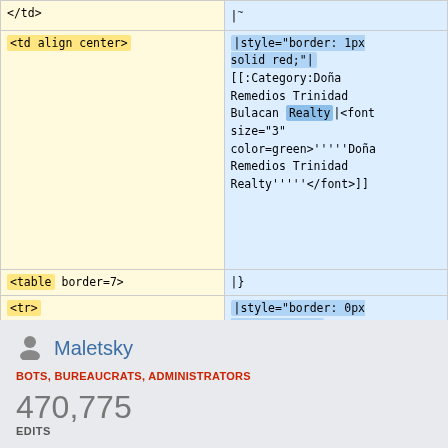| Left (wikitext) | Right (wikitext) |
| --- | --- |
| </td> | |~ |
| <td align center> | |style="border: 1px solid red;"|
[[:Category:Doña Remedios Trinidad Bulacan Realty|<font size="3" color=green>'''''Doña Remedios Trinidad Realty'''''</font>]] |
| <table border=7> | |} |
| <tr> | |style="border: 0px solid blue;"| |
[Figure (other): User icon (silhouette person)]
Maletsky
BOTS, BUREAUCRATS, ADMINISTRATORS
470,775
EDITS